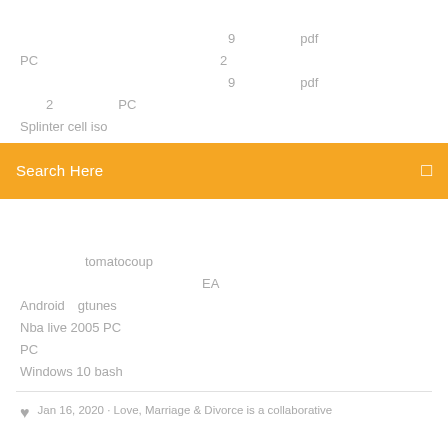9　　　　　pdf
PC　　　　　　　　　　　　　　　2
9　　　　　pdf
2　　　　　　PC
Splinter cell iso
[Figure (screenshot): Orange search bar with text 'Search Here' in white and a search icon on the right]
tomatocoup
EA
Android　gtunes
Nba live 2005 PC
PC
Windows 10 bash
Jan 16, 2020 · Love, Marriage & Divorce is a collaborative